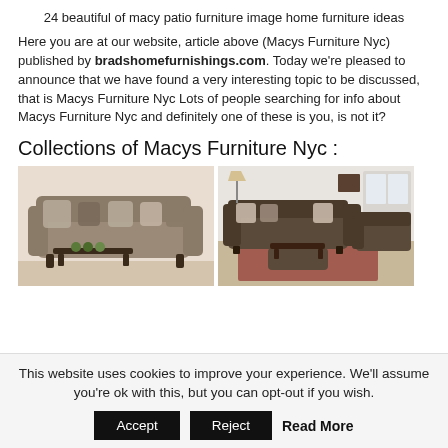24 beautiful of macy patio furniture image home furniture ideas
Here you are at our website, article above (Macys Furniture Nyc) published by bradshomefurnishings.com. Today we're pleased to announce that we have found a very interesting topic to be discussed, that is Macys Furniture Nyc Lots of people searching for info about Macys Furniture Nyc and definitely one of these is you, is not it?
Collections of Macys Furniture Nyc :
[Figure (photo): Two photos of brown/taupe sofas and living room furniture sets side by side]
This website uses cookies to improve your experience. We'll assume you're ok with this, but you can opt-out if you wish. Accept Reject Read More